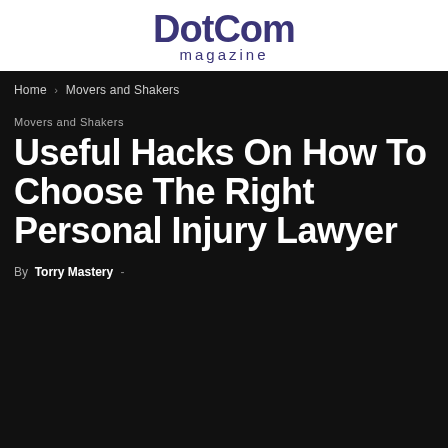DotCom magazine
Home › Movers and Shakers
Movers and Shakers
Useful Hacks On How To Choose The Right Personal Injury Lawyer
By Torry Mastery -